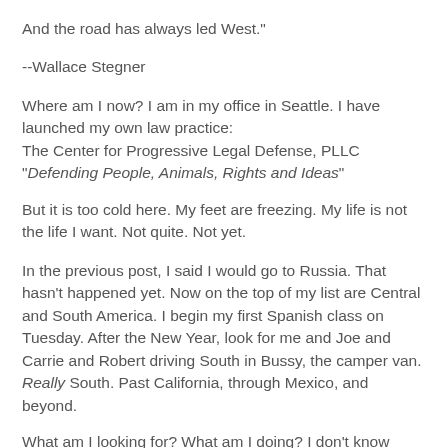And the road has always led West."
--Wallace Stegner
Where am I now? I am in my office in Seattle. I have launched my own law practice:
The Center for Progressive Legal Defense, PLLC
"Defending People, Animals, Rights and Ideas"
But it is too cold here. My feet are freezing. My life is not the life I want. Not quite. Not yet.
In the previous post, I said I would go to Russia. That hasn't happened yet. Now on the top of my list are Central and South America. I begin my first Spanish class on Tuesday. After the New Year, look for me and Joe and Carrie and Robert driving South in Bussy, the camper van. Really South. Past California, through Mexico, and beyond.
What am I looking for? What am I doing? I don't know these answers. One thing I do know is that I am done with any